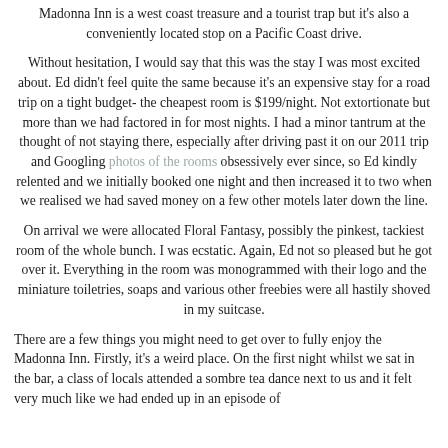Madonna Inn is a west coast treasure and a tourist trap but it's also a conveniently located stop on a Pacific Coast drive.
Without hesitation, I would say that this was the stay I was most excited about. Ed didn't feel quite the same because it's an expensive stay for a road trip on a tight budget- the cheapest room is $199/night. Not extortionate but more than we had factored in for most nights. I had a minor tantrum at the thought of not staying there, especially after driving past it on our 2011 trip and Googling photos of the rooms obsessively ever since, so Ed kindly relented and we initially booked one night and then increased it to two when we realised we had saved money on a few other motels later down the line.
On arrival we were allocated Floral Fantasy, possibly the pinkest, tackiest room of the whole bunch. I was ecstatic. Again, Ed not so pleased but he got over it. Everything in the room was monogrammed with their logo and the miniature toiletries, soaps and various other freebies were all hastily shoved in my suitcase.
There are a few things you might need to get over to fully enjoy the Madonna Inn. Firstly, it's a weird place. On the first night whilst we sat in the bar, a class of locals attended a sombre tea dance next to us and it felt very much like we had ended up in an episode of